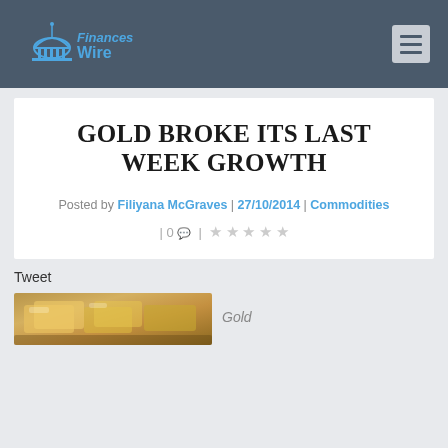FinancesWire
GOLD BROKE ITS LAST WEEK GROWTH
Posted by Filiyana McGraves | 27/10/2014 | Commodities
| 0 💬 | ★★★★★
Tweet
[Figure (photo): Photo of gold bars/coins with caption 'Gold']